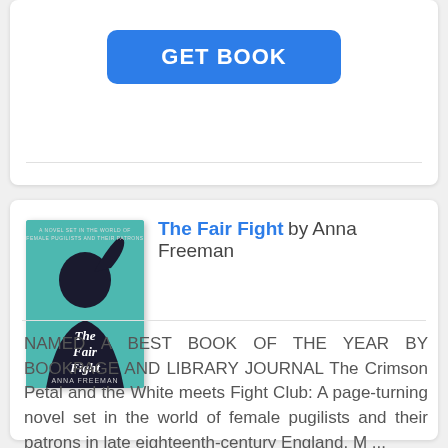[Figure (other): GET BOOK button — a blue rounded rectangle button with white bold text reading GET BOOK]
The Fair Fight by Anna Freeman
[Figure (illustration): Book cover of The Fair Fight by Anna Freeman — teal/turquoise background with a silhouette of a person and cursive white title text]
NAMED A BEST BOOK OF THE YEAR BY BOOKPAGE AND LIBRARY JOURNAL The Crimson Petal and the White meets Fight Club: A page-turning novel set in the world of female pugilists and their patrons in late eighteenth-century England. M ...